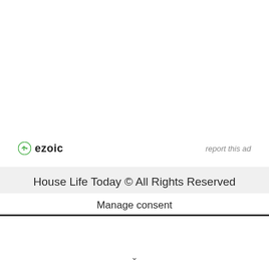[Figure (logo): Ezoic logo with green circular icon and bold 'ezoic' text, alongside 'report this ad' link text]
House Life Today © All Rights Reserved
Manage consent